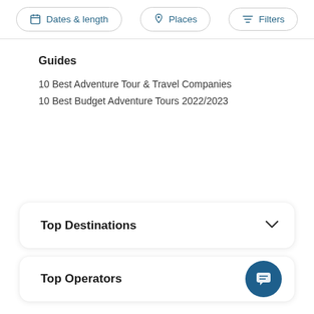Dates & length | Places | Filters
Guides
10 Best Adventure Tour & Travel Companies
10 Best Budget Adventure Tours 2022/2023
Top Destinations
Top Operators